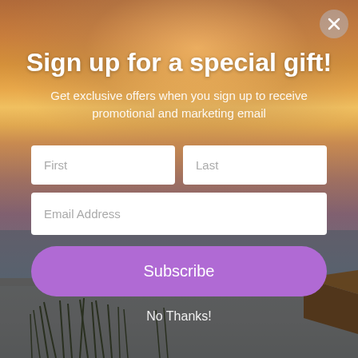[Figure (photo): Sunset beach background with warm orange and purple sky, ocean horizon, beach grass in foreground, and a thatched umbrella on the right side]
Sign up for a special gift!
Get exclusive offers when you sign up to receive promotional and marketing email
First
Last
Email Address
Subscribe
No Thanks!